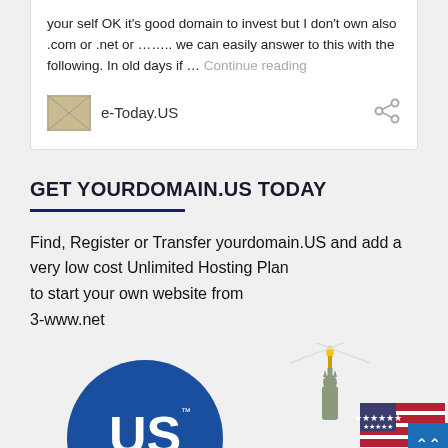your self OK it's good domain to invest but I don't own also .com or .net or …….. we can easily answer to this with the following. In old days if … Continue reading
e-Today.US
GET YOURDOMAIN.US TODAY
Find, Register or Transfer yourdomain.US and add a very low cost Unlimited Hosting Plan to start your own website from 3-www.net
[Figure (illustration): US domain logo with Statue of Liberty and American flag imagery at the bottom of the page]